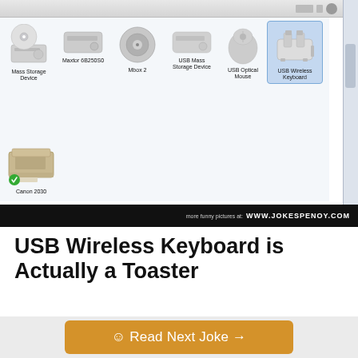[Figure (screenshot): Windows device manager or disk management screenshot showing device icons: Mass Storage Device, Maxtor 6B250S0, Mbox 2, USB Mass Storage Device, USB Optical Mouse, USB Wireless Keyboard (selected/highlighted), WDC WD1501FASS-00W2B0, and Canon 2030 printer with green checkmark. A toaster is shown as the icon for 'USB Wireless Keyboard'.]
more funny pictures at: WWW.JOKESPENOY.COM
USB Wireless Keyboard is Actually a Toaster
Life Funny Pictures
☺ Read Next Joke →